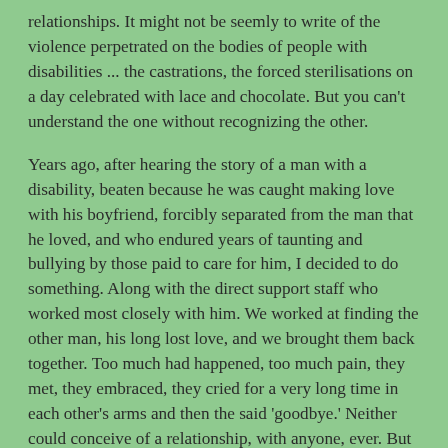relationships. It might not be seemly to write of the violence perpetrated on the bodies of people with disabilities ... the castrations, the forced sterilisations on a day celebrated with lace and chocolate. But you can't understand the one without recognizing the other.
Years ago, after hearing the story of a man with a disability, beaten because he was caught making love with his boyfriend, forcibly separated from the man that he loved, and who endured years of taunting and bullying by those paid to care for him, I decided to do something. Along with the direct support staff who worked most closely with him. We worked at finding the other man, his long lost love, and we brought them back together. Too much had happened, too much pain, they met, they embraced, they cried for a very long time in each other's arms and then the said 'goodbye.' Neither could conceive of a relationship, with anyone, ever. But they wanted the goodbye. He said to me, after it was over, "Love is wrong, people hurt you for it."
Years ago, after hearing the story of a man who was punished, sent to his room without dinner, for being caught with his girlfriend, in a downstairs room. He came out of that room to find that she was